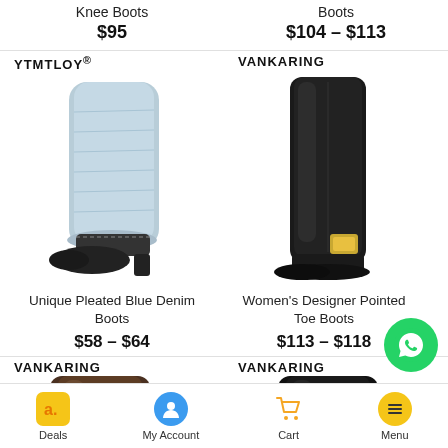Knee Boots
$95
Boots
$104 – $113
YTMTLOY®
[Figure (photo): Light blue denim pleated knee-high boots with black pointed toe and block heel]
VANKARING
[Figure (photo): Black leather over-the-knee boots with gold square buckle and pointed toe]
Unique Pleated Blue Denim Boots
$58 – $64
Women's Designer Pointed Toe Boots
$113 – $118
VANKARING
[Figure (photo): Partial view of dark brown boots]
VANKARING
[Figure (photo): Partial view of black boots]
Deals  My Account  Cart  Menu